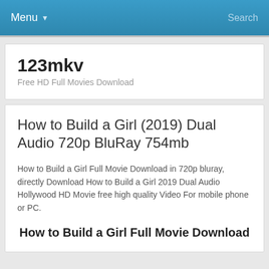Menu ▾   Search
123mkv
Free HD Full Movies Download
How to Build a Girl (2019) Dual Audio 720p BluRay 754mb
How to Build a Girl Full Movie Download in 720p bluray, directly Download How to Build a Girl 2019 Dual Audio Hollywood HD Movie free high quality Video For mobile phone or PC.
How to Build a Girl Full Movie Download